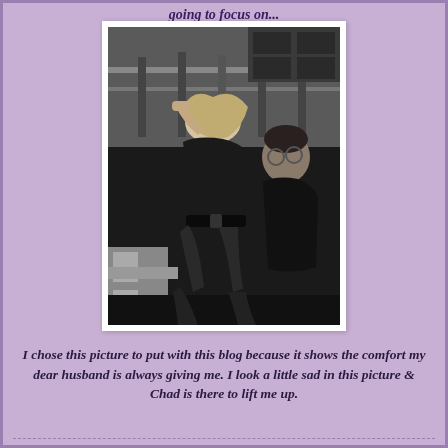going to focus on...
[Figure (photo): Black and white photo of a couple sitting outdoors. A blonde woman with her hand raised to her head leans against a man wearing glasses, both dressed in dark clothing, with a railing/fence visible in the background.]
I chose this picture to put with this blog because it shows the comfort my dear husband is always giving me. I look a little sad in this picture & Chad is there to lift me up.